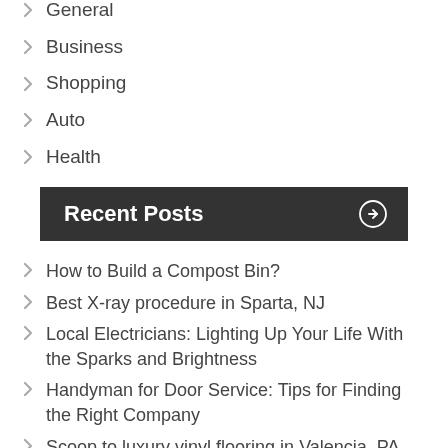General
Business
Shopping
Auto
Health
Recent Posts
How to Build a Compost Bin?
Best X-ray procedure in Sparta, NJ
Local Electricians: Lighting Up Your Life With the Sparks and Brightness
Handyman for Door Service: Tips for Finding the Right Company
Scoop to luxury vinyl flooring in Valencia, PA